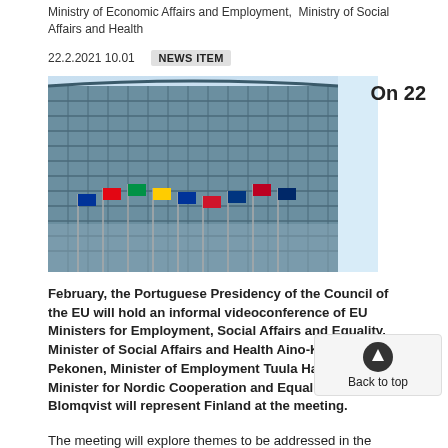Ministry of Economic Affairs and Employment,  Ministry of Social Affairs and Health
22.2.2021 10.01  NEWS ITEM
[Figure (photo): Photograph of an EU Parliament or Council building with multiple EU member state flags waving in the foreground]
On 22
February, the Portuguese Presidency of the Council of the EU will hold an informal videoconference of EU Ministers for Employment, Social Affairs and Equality. Minister of Social Affairs and Health Aino-Kaisa Pekonen, Minister of Employment Tuula Haatainen and Minister for Nordic Cooperation and Equality Thomas Blomqvist will represent Finland at the meeting.
The meeting will explore themes to be addressed in the